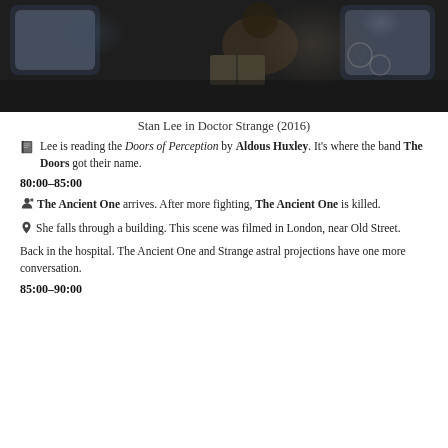[Figure (photo): Dark scene of Stan Lee on a bus, reading a book, from Doctor Strange (2016)]
Stan Lee in Doctor Strange (2016)
Lee is reading the Doors of Perception by Aldous Huxley. It's where the band The Doors got their name.
80:00–85:00
The Ancient One arrives. After more fighting, The Ancient One is killed.
She falls through a building. This scene was filmed in London, near Old Street.
Back in the hospital. The Ancient One and Strange astral projections have one more conversation.
85:00–90:00